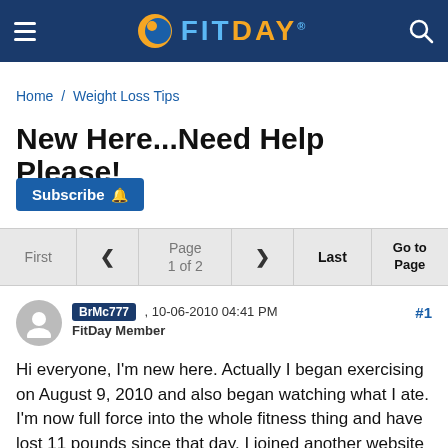FITDAY
Home / Weight Loss Tips
New Here...Need Help Please!
Subscribe
First < Page 1 of 2 > Last Go to Page
BrMc777 , 10-06-2010 04:41 PM #1 FitDay Member
Hi everyone, I'm new here. Actually I began exercising on August 9, 2010 and also began watching what I ate. I'm now full force into the whole fitness thing and have lost 11 pounds since that day. I joined another website that helps